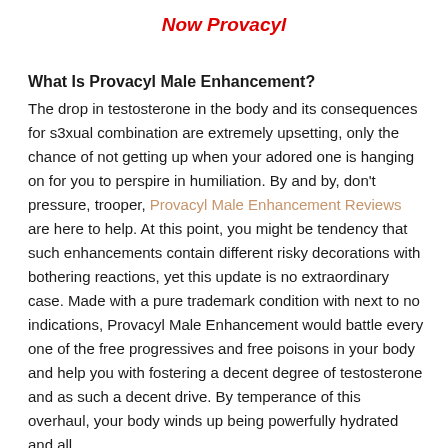Now Provacyl
What Is Provacyl Male Enhancement?
The drop in testosterone in the body and its consequences for s3xual combination are extremely upsetting, only the chance of not getting up when your adored one is hanging on for you to perspire in humiliation. By and by, don't pressure, trooper, Provacyl Male Enhancement Reviews are here to help. At this point, you might be tendency that such enhancements contain different risky decorations with bothering reactions, yet this update is no extraordinary case. Made with a pure trademark condition with next to no indications, Provacyl Male Enhancement would battle every one of the free progressives and free poisons in your body and help you with fostering a decent degree of testosterone and as such a decent drive. By temperance of this overhaul, your body winds up being powerfully hydrated and all